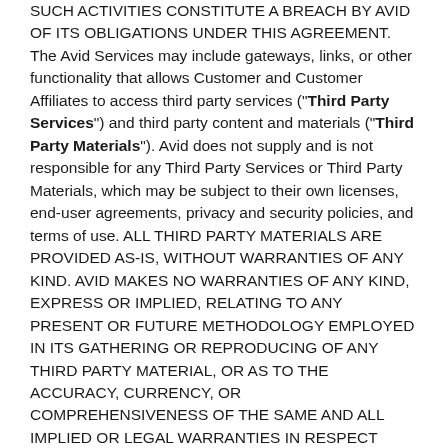SUCH ACTIVITIES CONSTITUTE A BREACH BY AVID OF ITS OBLIGATIONS UNDER THIS AGREEMENT. The Avid Services may include gateways, links, or other functionality that allows Customer and Customer Affiliates to access third party services (“Third Party Services”) and third party content and materials (“Third Party Materials”). Avid does not supply and is not responsible for any Third Party Services or Third Party Materials, which may be subject to their own licenses, end-user agreements, privacy and security policies, and terms of use. ALL THIRD PARTY MATERIALS ARE PROVIDED AS-IS, WITHOUT WARRANTIES OF ANY KIND. AVID MAKES NO WARRANTIES OF ANY KIND, EXPRESS OR IMPLIED, RELATING TO ANY PRESENT OR FUTURE METHODOLOGY EMPLOYED IN ITS GATHERING OR REPRODUCING OF ANY THIRD PARTY MATERIAL, OR AS TO THE ACCURACY, CURRENCY, OR COMPREHENSIVENESS OF THE SAME AND ALL IMPLIED OR LEGAL WARRANTIES IN RESPECT THEREOF